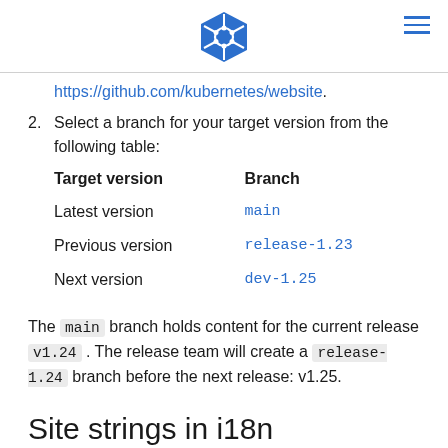Kubernetes logo and hamburger menu
https://github.com/kubernetes/website.
Select a branch for your target version from the following table: Target version Branch | Latest version main | Previous version release-1.23 | Next version dev-1.25
The main branch holds content for the current release v1.24 . The release team will create a release-1.24 branch before the next release: v1.25.
Site strings in i18n